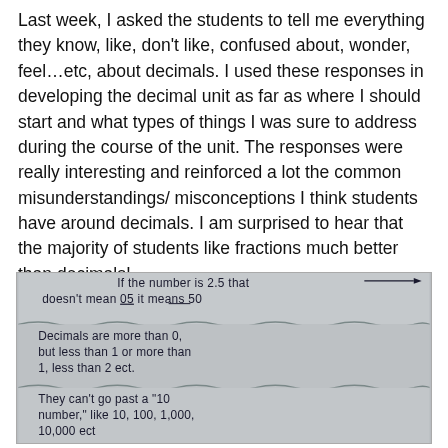Last week, I asked the students to tell me everything they know, like, don't like, confused about, wonder, feel…etc, about decimals. I used these responses in developing the decimal unit as far as where I should start and what types of things I was sure to address during the course of the unit. The responses were really interesting and reinforced a lot the common misunderstandings/ misconceptions I think students have around decimals. I am surprised to hear that the majority of students like fractions much better than decimals!
[Figure (photo): A photograph of handwritten student responses about decimals on lined paper. Three entries are visible separated by wavy lines: 1) 'If the number is 2.5 that doesn't mean 0.5 it means 50', 2) 'Decimals are more than 0, but less than 1 or more than 1, less than 2 ect.', 3) 'They can't go past a 10 number, like 10, 100, 1,000, 10,000 ect']